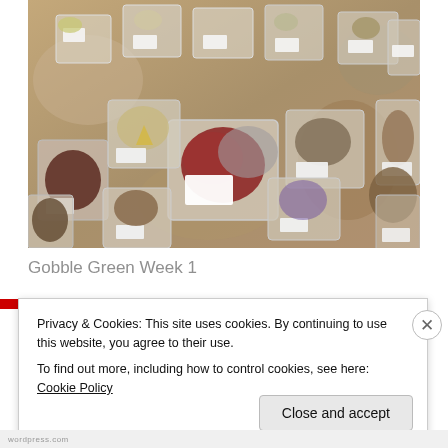[Figure (photo): Overhead view of many transparent plastic zip-lock bags containing various dried or raw food/herb items laid out on a surface. The bags have small white labels attached.]
Gobble Green Week 1
Privacy & Cookies: This site uses cookies. By continuing to use this website, you agree to their use.
To find out more, including how to control cookies, see here: Cookie Policy